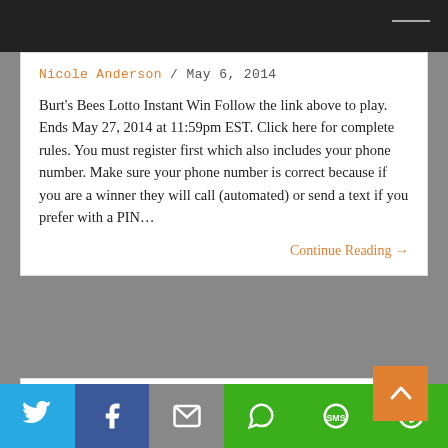Nicole Anderson / May 6, 2014
Burt's Bees Lotto Instant Win Follow the link above to play.  Ends May 27, 2014 at 11:59pm EST. Click here for complete rules. You must register first which also includes your phone number. Make sure your phone number is correct because if you are a winner they will call (automated) or send a text if you prefer with a PIN…
Continue Reading →